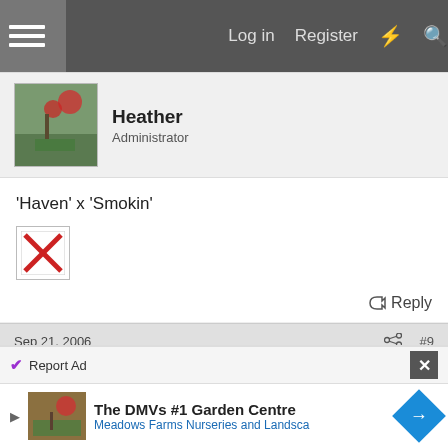Log in  Register
Heather
Administrator
'Haven' x 'Smokin'
[Figure (other): Broken image placeholder with red X]
Reply
Sep 21, 2006   #9
Heather
Administrator
Report Ad
The DMVs #1 Garden Centre
Meadows Farms Nurseries and Landsca